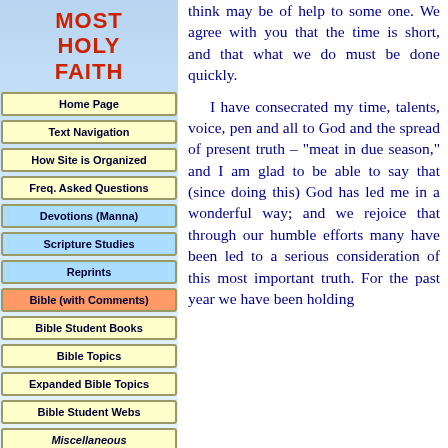MOST HOLY FAITH
Home Page
Text Navigation
How Site is Organized
Freq. Asked Questions
Devotions (Manna)
Scripture Studies
Reprints
Bible (with Comments)
Bible Student Books
Bible Topics
Expanded Bible Topics
Bible Student Webs
Miscellaneous
think may be of help to some one. We agree with you that the time is short, and that what we do must be done quickly. I have consecrated my time, talents, voice, pen and all to God and the spread of present truth – "meat in due season," and I am glad to be able to say that (since doing this) God has led me in a wonderful way; and we rejoice that through our humble efforts many have been led to a serious consideration of this most important truth. For the past year we have been holding